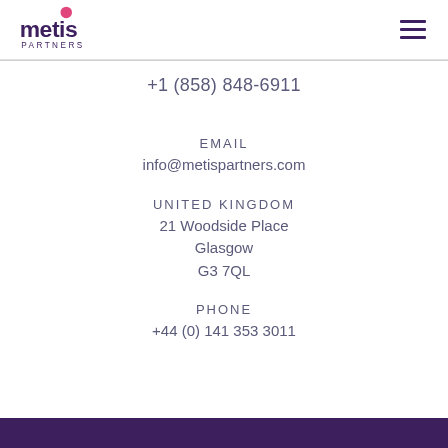[Figure (logo): Metis Partners logo with pink geometric shape and purple text]
+1 (858) 848-6911
EMAIL
info@metispartners.com
UNITED KINGDOM
21 Woodside Place
Glasgow
G3 7QL
PHONE
+44 (0) 141 353 3011